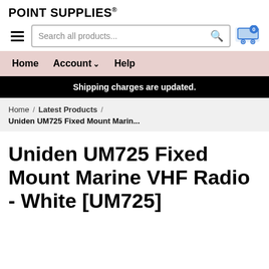POINT SUPPLIES®
Search all products...
Home  Account ˅  Help
Shipping charges are updated.
Home / Latest Products / Uniden UM725 Fixed Mount Marin...
Uniden UM725 Fixed Mount Marine VHF Radio - White [UM725]